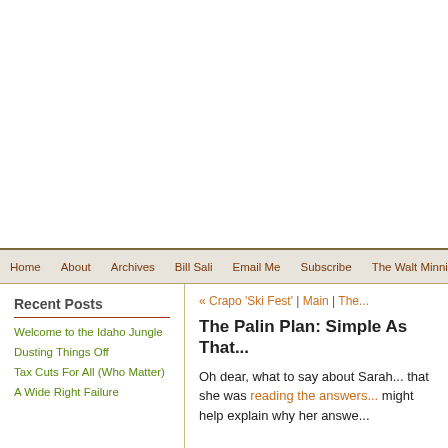[Figure (other): White advertisement/banner space at top of webpage]
Home | About | Archives | Bill Sali | Email Me | Subscribe | The Walt Minnick You De...
Recent Posts
Welcome to the Idaho Jungle
Dusting Things Off
Tax Cuts For All (Who Matter)
A Wide Right Failure
« Crapo 'Ski Fest' | Main | The...
The Palin Plan: Simple As That...
Oh dear, what to say about Sarah... that she was reading the answers... might help explain why her answe...